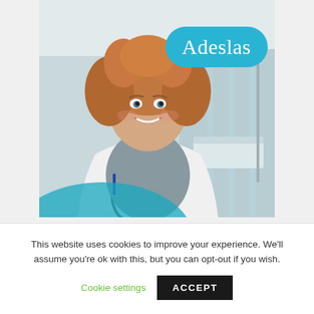[Figure (photo): A smiling female doctor in a white lab coat with a stethoscope around her neck, standing in a hospital room. In the top-right area of the photo is the Adeslas logo — white text on a teal/blue rounded pill-shaped background. At the bottom-left of the photo is a teal semi-circular arc overlay.]
This website uses cookies to improve your experience. We'll assume you're ok with this, but you can opt-out if you wish.
Cookie settings
ACCEPT